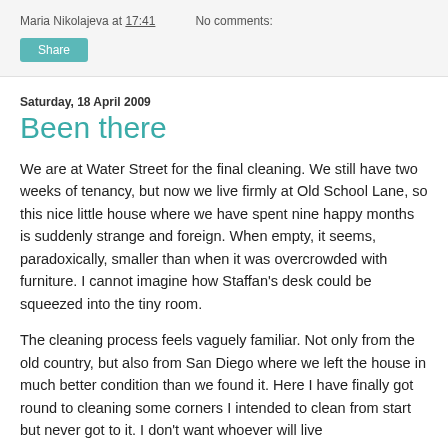Maria Nikolajeva at 17:41   No comments:
Share
Saturday, 18 April 2009
Been there
We are at Water Street for the final cleaning. We still have two weeks of tenancy, but now we live firmly at Old School Lane, so this nice little house where we have spent nine happy months is suddenly strange and foreign. When empty, it seems, paradoxically, smaller than when it was overcrowded with furniture. I cannot imagine how Staffan's desk could be squeezed into the tiny room.
The cleaning process feels vaguely familiar. Not only from the old country, but also from San Diego where we left the house in much better condition than we found it. Here I have finally got round to cleaning some corners I intended to clean from start but never got to it. I don't want whoever will live